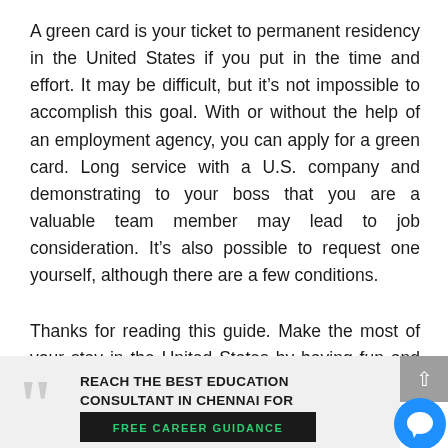A green card is your ticket to permanent residency in the United States if you put in the time and effort. It may be difficult, but it’s not impossible to accomplish this goal. With or without the help of an employment agency, you can apply for a green card. Long service with a U.S. company and demonstrating to your boss that you are a valuable team member may lead to job consideration. It’s also possible to request one yourself, although there are a few conditions.
Thanks for reading this guide. Make the most of your stay in the United States by having fun and focusing on your studies.
[Figure (infographic): Banner with large quotation mark, heading text 'REACH THE BEST EDUCATION CONSULTANT IN CHENNAI FOR', a dark button with 'FREE CAREER GUIDANCE' in green text, a grey scroll-to-top button with an up arrow, and a blue circular chat button.]